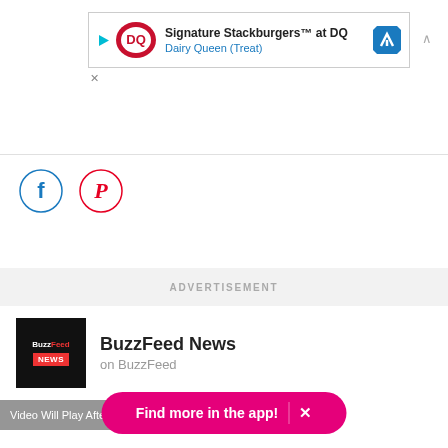[Figure (screenshot): Dairy Queen ad banner with DQ logo, text 'Signature Stackburgers™ at DQ' and 'Dairy Queen (Treat)', blue arrow icon, play button and X close icon]
[Figure (screenshot): Social share icons: Facebook (blue circle) and Pinterest (red circle)]
ADVERTISEMENT
[Figure (logo): BuzzFeed News logo: black square with BuzzFeed in white and NEWS in red]
BuzzFeed News
on BuzzFeed
Video Will Play After Ad
Find more in the app!